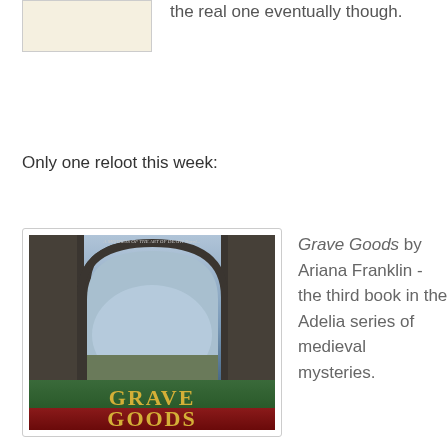[Figure (illustration): Book cover image (cropped/partial) at top left, light cream/beige colored]
the real one eventually though.
Only one reloot this week:
[Figure (illustration): Book cover of 'Grave Goods' by Ariana Franklin showing a gothic stone arch with atmospheric blue-grey tones, green and red band at bottom with gold title text 'GRAVE GOODS' and author name 'ARIANA FRANKLIN']
Grave Goods by Ariana Franklin - the third book in the Adelia series of medieval mysteries.